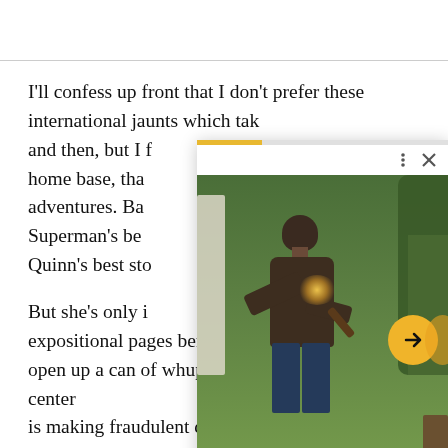I'll confess up front that I don't prefer these international jaunts which tak[e her away from her home base, tha[t inform her best adventures. Ba[tman and Superman's bes[t stories…] Quinn's best sto[ries…]
[Figure (screenshot): A video player popup overlay showing a man in a jacket with a glowing light effect, set in a garden/outdoor scene with trees. There is a yellow-orange progress bar at top, three-dot menu icon, X close icon, and a yellow circular arrow/next button on the right side of the image.]
But she's only in [a few] expositional pages before she takes off to Mumbai to open up a can of whup-butt on thieves whose call-center is making fraudulent calls to bilk seniors out of their [money].